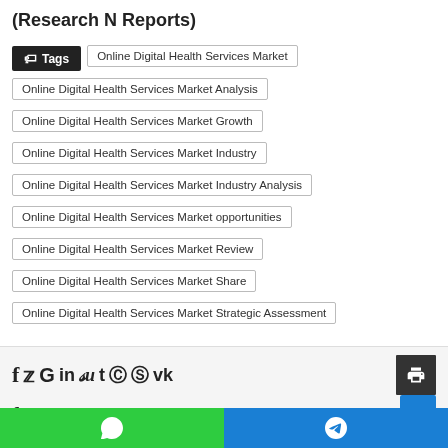(Research N Reports)
Tags
Online Digital Health Services Market
Online Digital Health Services Market Analysis
Online Digital Health Services Market Growth
Online Digital Health Services Market Industry
Online Digital Health Services Market Industry Analysis
Online Digital Health Services Market opportunities
Online Digital Health Services Market Review
Online Digital Health Services Market Share
Online Digital Health Services Market Strategic Assessment
[Figure (screenshot): Social media sharing icons (Facebook, Twitter, Google, LinkedIn, StumbleUpon, Tumblr, Pinterest, Reddit, VK) and a print button, followed by a scroll-to-top button and WhatsApp/Telegram footer share buttons]